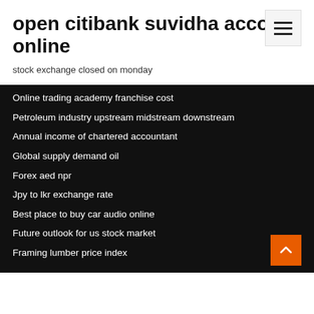open citibank suvidha account online
stock exchange closed on monday
Online trading academy franchise cost
Petroleum industry upstream midstream downstream
Annual income of chartered accountant
Global supply demand oil
Forex aed npr
Jpy to lkr exchange rate
Best place to buy car audio online
Future outlook for us stock market
Framing lumber price index